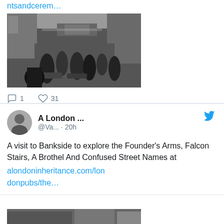ntsandcerem…
[Figure (photo): Historical black and white photograph of a busy London street market scene with crowds of people and market stalls]
1   31
A London ... @Va... · 20h
A visit to Bankside to explore the Founder's Arms, Falcon Stairs, A Brothel And Confused Street Names at
alondoninheritance.com/londonpubs/the…
[Figure (photo): Historical black and white photograph of a London building exterior]